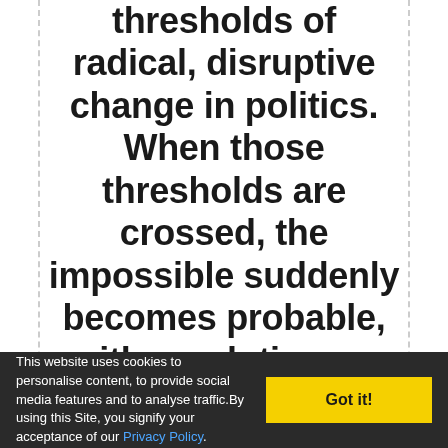thresholds of radical, disruptive change in politics. When those thresholds are crossed, the impossible suddenly becomes probable, with revolutionary implications for governments and nations. - Ian Lustick
This website uses cookies to personalise content, to provide social media features and to analyse traffic.By using this Site, you signify your acceptance of our Privacy Policy.